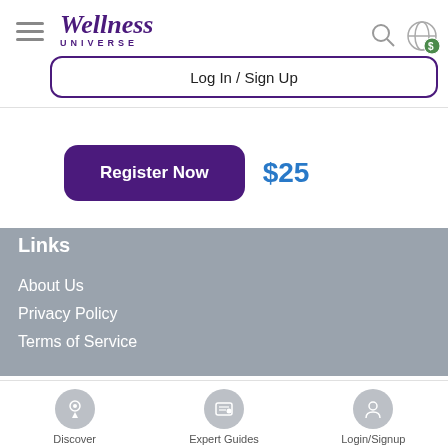[Figure (logo): Wellness Universe logo with hamburger menu, search icon, and globe/currency icon in the header]
Log In / Sign Up
Register Now   $25
Links
About Us
Privacy Policy
Terms of Service
[Figure (screenshot): Bottom navigation bar with Discover, Expert Guides, and Login/Signup icons]